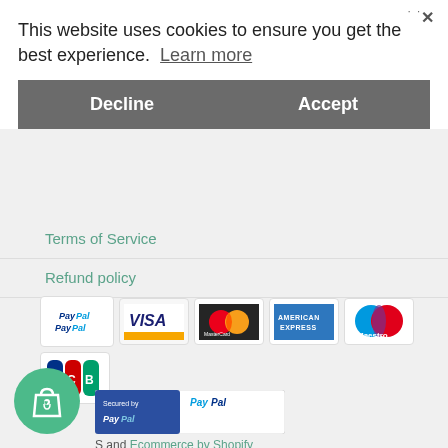GET THE LATEST NEWS AND OFFERS
SUBSCRIBE
This website uses cookies to ensure you get the best experience.  Learn more
Decline
Accept
Terms of Service
Refund policy
[Figure (logo): Payment method logos: PayPal, Visa, MasterCard, American Express, Maestro, JCB]
[Figure (logo): Secured by PayPal badge]
S and Ecommerce by Shopify
[Figure (logo): Shopping bag with heart icon]